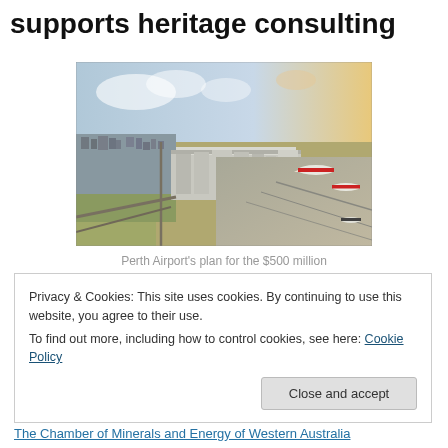supports heritage consulting
[Figure (photo): Aerial view of Perth Airport showing terminal buildings, aircraft stands, runways, and surrounding suburban and open areas.]
Perth Airport's plan for the $500 million
Privacy & Cookies: This site uses cookies. By continuing to use this website, you agree to their use.
To find out more, including how to control cookies, see here: Cookie Policy
Close and accept
The Chamber of Minerals and Energy of Western Australia